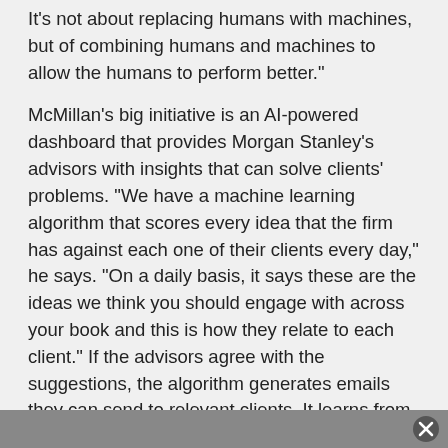It's not about replacing humans with machines, but of combining humans and machines to allow the humans to perform better."
McMillan's big initiative is an AI-powered dashboard that provides Morgan Stanley's advisors with insights that can solve clients' problems. "We have a machine learning algorithm that scores every idea that the firm has against each one of their clients every day," he says. "On a daily basis, it says these are the ideas we think you should engage with across your book and this is how they relate to each client." If the advisors agree with the suggestions, the algorithm generates emails they can send to relevant clients. It learns from what both the advisors and the clients interact with, and adapts its suggestions as a result. "Advisors are professionals. They are not at the whim of this machine. The machine is advising them and giving them ideas they can act upon," says McMillan.